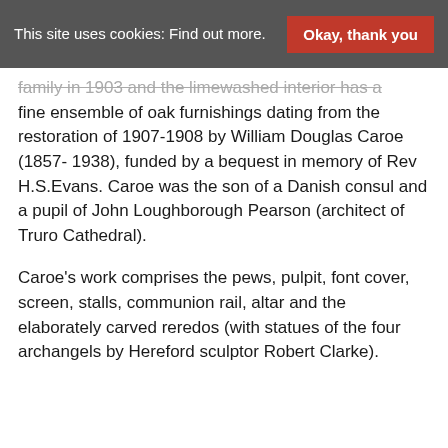This site uses cookies: Find out more. | Okay, thank you
family in 1903 and the limewashed interior has a fine ensemble of oak furnishings dating from the restoration of 1907-1908 by William Douglas Caroe (1857- 1938), funded by a bequest in memory of Rev H.S.Evans. Caroe was the son of a Danish consul and a pupil of John Loughborough Pearson (architect of Truro Cathedral).
Caroe’s work comprises the pews, pulpit, font cover, screen, stalls, communion rail, altar and the elaborately carved reredos (with statues of the four archangels by Hereford sculptor Robert Clarke).